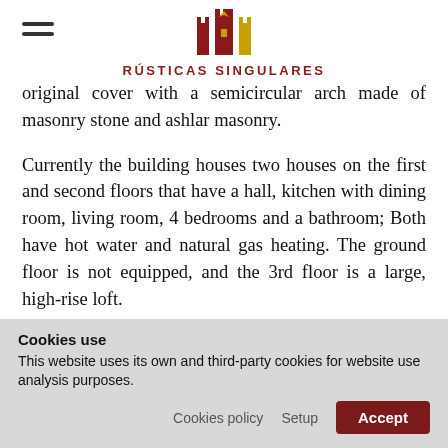Rústicas Singulares
original cover with a semicircular arch made of masonry stone and ashlar masonry.
Currently the building houses two houses on the first and second floors that have a hall, kitchen with dining room, living room, 4 bedrooms and a bathroom; Both have hot water and natural gas heating. The ground floor is not equipped, and the 3rd floor is a large, high-rise loft.
The construction is arranged on a land of almost 1.000 m² with a garden in the front and rear where the pool is located and a 116 m² built storage or garage.
Cookies use
This website uses its own and third-party cookies for website use analysis purposes.